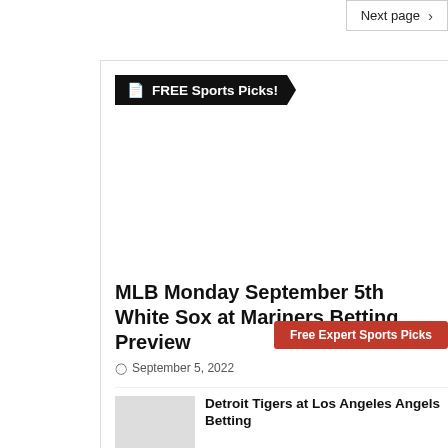Next page ›
[Figure (other): Black banner with document icon and text 'FREE Sports Picks!' in bold white text on black background with arrow shape]
[Figure (other): Advertisement space / blank content area]
Free Expert Sports Picks
MLB Monday September 5th White Sox at Mariners Betting Preview
September 5, 2022
Detroit Tigers at Los Angeles Angels Betting